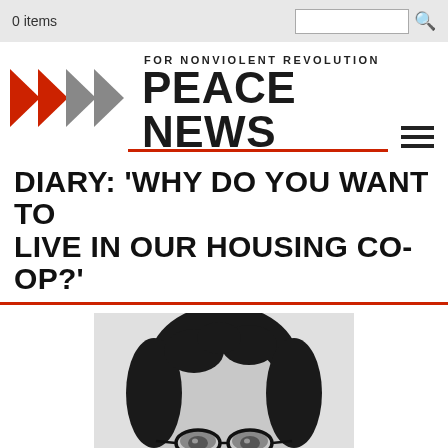0 items
FOR NONVIOLENT REVOLUTION
PEACE NEWS
DIARY: 'WHY DO YOU WANT TO LIVE IN OUR HOUSING CO-OP?'
[Figure (photo): Black and white close-up photo of a person with curly dark hair and oval glasses, looking slightly upward.]